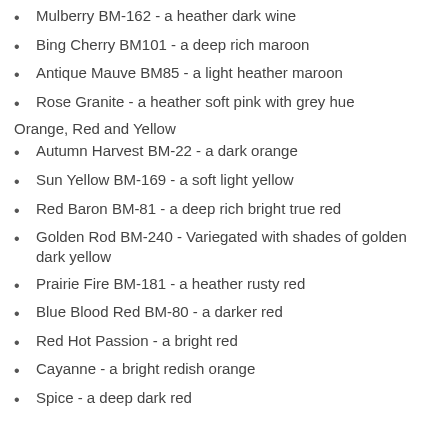Mulberry BM-162 - a heather dark wine
Bing Cherry BM101 - a deep rich maroon
Antique Mauve BM85 - a light heather maroon
Rose Granite - a heather soft pink with grey hue
Orange, Red and Yellow
Autumn Harvest BM-22 - a dark orange
Sun Yellow BM-169 - a soft light yellow
Red Baron BM-81 - a deep rich bright true red
Golden Rod BM-240 - Variegated with shades of golden dark yellow
Prairie Fire BM-181 - a heather rusty red
Blue Blood Red BM-80 - a darker red
Red Hot Passion - a bright red
Cayanne - a bright redish orange
Spice - a deep dark red